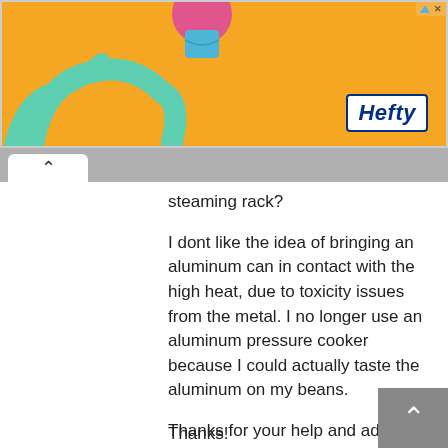[Figure (screenshot): Orange Hefty brand advertisement banner with logo on right and product image on left]
steaming rack?
I dont like the idea of bringing an aluminum can in contact with the high heat, due to toxicity issues from the metal.  I no longer use an aluminum pressure cooker because  I could actually taste the aluminum on my beans.
Thanks for your help and advice!  I have never cooked a chicken in my life and am integrating meat after 22 years of vegetarianism!  I have a whole chicken in the fridge and need to figure out the easiest way to deal with it!!!
Thanks!